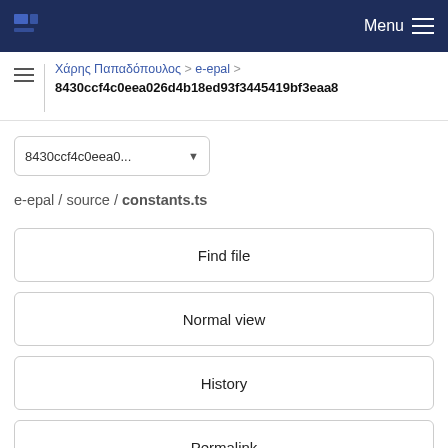Menu
Χάρης Παπαδόπουλος > e-epal > 8430ccf4c0eea026d4b18ed93f3445419bf3eaa8
8430ccf4c0eea0...
e-epal / source / constants.ts
Find file
Normal view
History
Permalink
constants.ts  820 Bytes